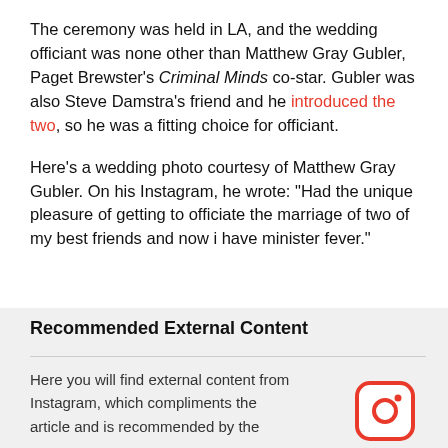The ceremony was held in LA, and the wedding officiant was none other than Matthew Gray Gubler, Paget Brewster's Criminal Minds co-star. Gubler was also Steve Damstra's friend and he introduced the two, so he was a fitting choice for officiant.
Here's a wedding photo courtesy of Matthew Gray Gubler. On his Instagram, he wrote: "Had the unique pleasure of getting to officiate the marriage of two of my best friends and now i have minister fever."
Recommended External Content
Here you will find external content from Instagram, which compliments the article and is recommended by the